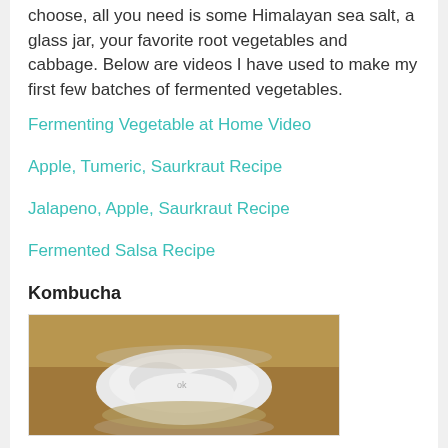choose, all you need is some Himalayan sea salt, a glass jar, your favorite root vegetables and cabbage. Below are videos I have used to make my first few batches of fermented vegetables.
Fermenting Vegetable at Home Video
Apple, Tumeric, Saurkraut Recipe
Jalapeno, Apple, Saurkraut Recipe
Fermented Salsa Recipe
Kombucha
[Figure (photo): A white SCOBY or fermented culture in a glass jar seen from above on a wooden surface]